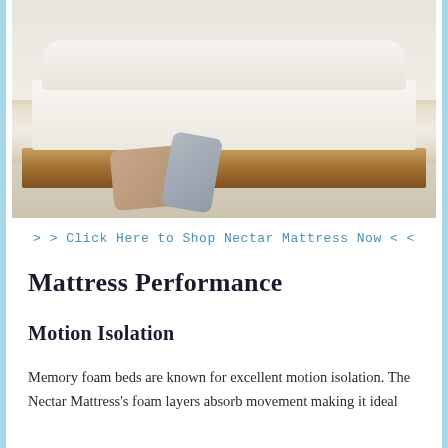[Figure (photo): A minimalist bedroom with a low wooden platform bed dressed in white bedding and neutral-toned pillows. Two decorative pillows (beige and gray) rest on the floor in front of the bed. The room has light-colored walls and a striped rug.]
> > Click Here to Shop Nectar Mattress Now < <
Mattress Performance
Motion Isolation
Memory foam beds are known for excellent motion isolation. The Nectar Mattress's foam layers absorb movement making it ideal